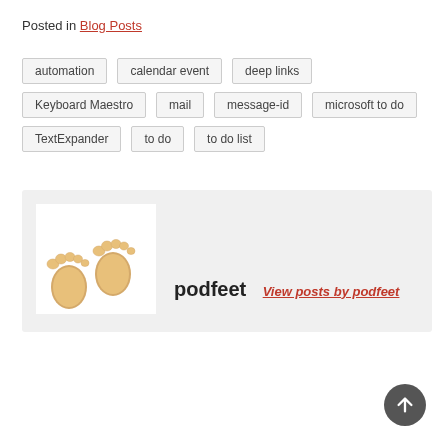Posted in Blog Posts
automation
calendar event
deep links
Keyboard Maestro
mail
message-id
microsoft to do
TextExpander
to do
to do list
[Figure (illustration): Two baby footprints emoji illustration in tan/golden color on white background]
podfeet  View posts by podfeet